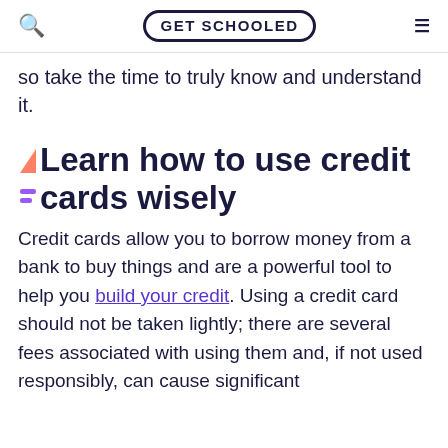GET SCHOOLED
so take the time to truly know and understand it.
Learn how to use credit cards wisely
Credit cards allow you to borrow money from a bank to buy things and are a powerful tool to help you build your credit. Using a credit card should not be taken lightly; there are several fees associated with using them and, if not used responsibly, can cause significant